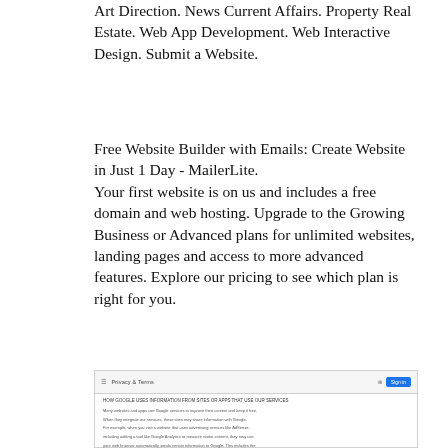Art Direction. News Current Affairs. Property Real Estate. Web App Development. Web Interactive Design. Submit a Website.
Free Website Builder with Emails: Create Website in Just 1 Day - MailerLite.
Your first website is on us and includes a free domain and web hosting. Upgrade to the Growing Business or Advanced plans for unlimited websites, landing pages and access to more advanced features. Explore our pricing to see which plan is right for you.
[Figure (screenshot): Screenshot of a webpage showing Privacy & Terms content with a Sign In button and body text about websites and apps using design and information.]